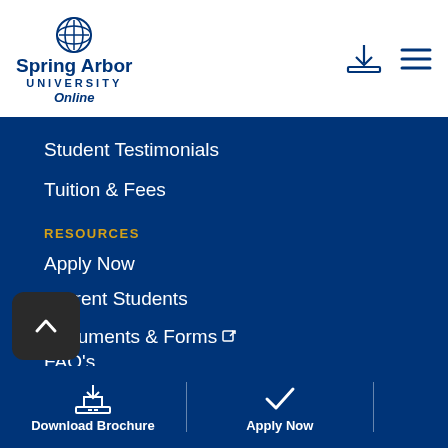[Figure (logo): Spring Arbor University Online logo with cross/globe shield icon, text 'Spring Arbor UNIVERSITY Online']
[Figure (infographic): Download brochure icon (tray with down arrow) and hamburger menu icon in header]
Student Testimonials
Tuition & Fees
RESOURCES
Apply Now
Become a Student
Blog
Current Students
Documents & Forms
FAQ's
Refer a Friend
SAU in the News
[Figure (infographic): Download Brochure button and Apply Now button in bottom bar]